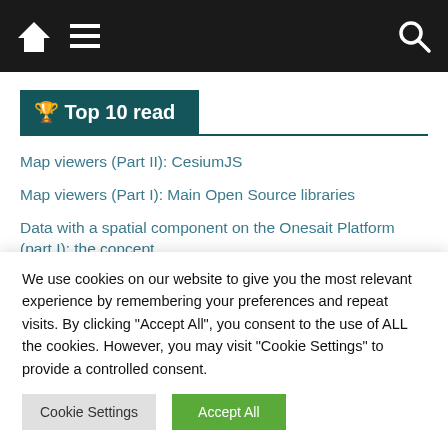Navigation bar with home icon, menu icon, and search icon
🏆 Top 10 read
Map viewers (Part II): CesiumJS
Map viewers (Part I): Main Open Source libraries
Data with a spatial component on the Onesait Platform (part I): the concept
Map viewers (Part IV): Leaflet
We use cookies on our website to give you the most relevant experience by remembering your preferences and repeat visits. By clicking "Accept All", you consent to the use of ALL the cookies. However, you may visit "Cookie Settings" to provide a controlled consent.